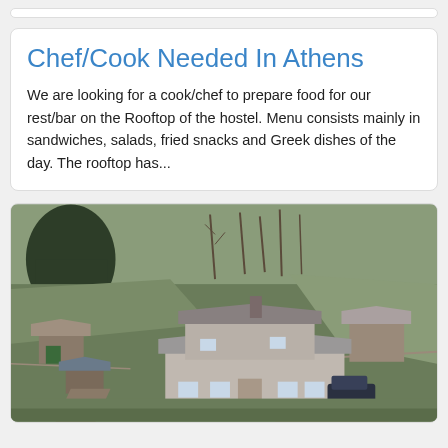Chef/Cook Needed In Athens
We are looking for a cook/chef to prepare food for our rest/bar on the Rooftop of the hostel. Menu consists mainly in sandwiches, salads, fried snacks and Greek dishes of the day. The rooftop has...
[Figure (photo): Aerial drone photograph of a rural stone farmhouse complex surrounded by green fields, bare trees, and hills in the background. Several stone outbuildings visible around a main house with grey slate roofs.]